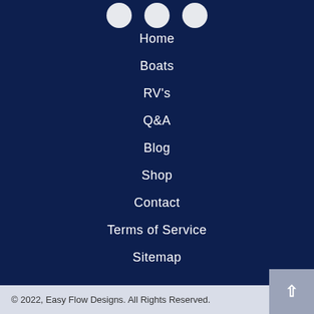[Figure (other): Three white circular social media icon buttons at top center]
Home
Boats
RV's
Q&A
Blog
Shop
Contact
Terms of Service
Sitemap
© 2022, Easy Flow Designs. All Rights Reserved.